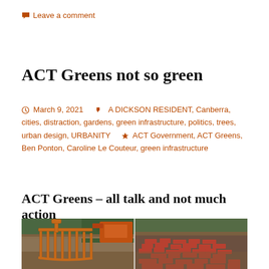💬 Leave a comment
ACT Greens not so green
March 9, 2021   A DICKSON RESIDENT, Canberra, cities, distraction, gardens, green infrastructure, politics, trees, urban design, URBANITY   ACT Government, ACT Greens, Ben Ponton, Caroline Le Couteur, green infrastructure
ACT Greens – all talk and not much action
[Figure (photo): Side-by-side image showing a demolition scene on the left with an orange mechanical grapple/claw in front of a wooden fence and greenery, and on the right a pile of red bricks and rubble on bare soil against a wooden fence.]